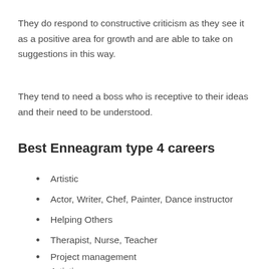They do respond to constructive criticism as they see it as a positive area for growth and are able to take on suggestions in this way.
They tend to need a boss who is receptive to their ideas and their need to be understood.
Best Enneagram type 4 careers
Artistic
Actor, Writer, Chef, Painter, Dance instructor
Helping Others
Therapist, Nurse, Teacher
Project management
Artistic